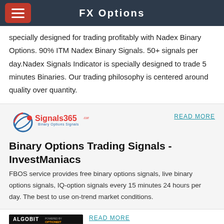FX Options
specially designed for trading profitably with Nadex Binary Options. 90% ITM Nadex Binary Signals. 50+ signals per day.Nadex Signals Indicator is specially designed to trade 5 minutes Binaries. Our trading philosophy is centered around quality over quantity.
[Figure (logo): Signals365 Binary Options Signals logo]
READ MORE
Binary Options Trading Signals - InvestManiacs
FBOS service provides free binary options signals, live binary options signals, IQ-option signals every 15 minutes 24 hours per day. The best to use on-trend market conditions.
[Figure (screenshot): Algobit powered by OptionBit trading signals software screenshot]
READ MORE
Binary Option Robot (Top 100% Free Option Trading Software)